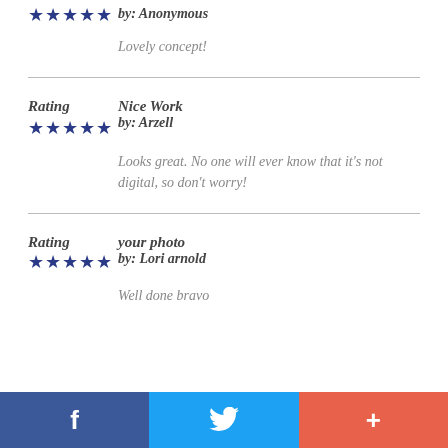★★★★★  by: Anonymous
Lovely concept!
Rating  Nice Work
★★★★★  by: Arzell
Looks great. No one will ever know that it's not digital, so don't worry!
Rating  your photo
★★★★★  by: Lori arnold
Well done bravo
f  [Twitter]  +